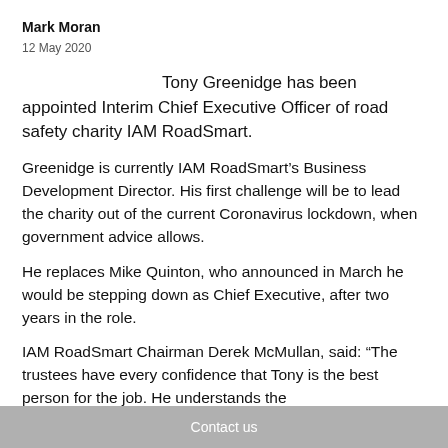Mark Moran
12 May 2020
Tony Greenidge has been appointed Interim Chief Executive Officer of road safety charity IAM RoadSmart.
Greenidge is currently IAM RoadSmart’s Business Development Director. His first challenge will be to lead the charity out of the current Coronavirus lockdown, when government advice allows.
He replaces Mike Quinton, who announced in March he would be stepping down as Chief Executive, after two years in the role.
IAM RoadSmart Chairman Derek McMullan, said: “The trustees have every confidence that Tony is the best person for the job. He understands the
Contact us